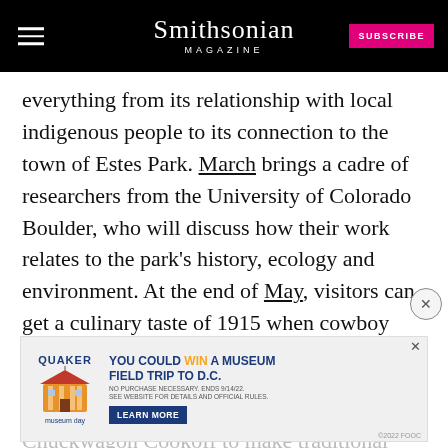Smithsonian MAGAZINE | SUBSCRIBE
everything from its relationship with local indigenous people to its connection to the town of Estes Park. March brings a cadre of researchers from the University of Colorado Boulder, who will discuss how their work relates to the park's history, ecology and environment. At the end of May, visitors can get a culinary taste of 1915 when cowboy enthusiasts from across the country congregate at the Rocky Mountain Chuckwagon Cookoff to make traditional recipes such
[Figure (screenshot): Quaker Museum Day advertisement: 'You could win a museum field trip to D.C.' with Learn More button]